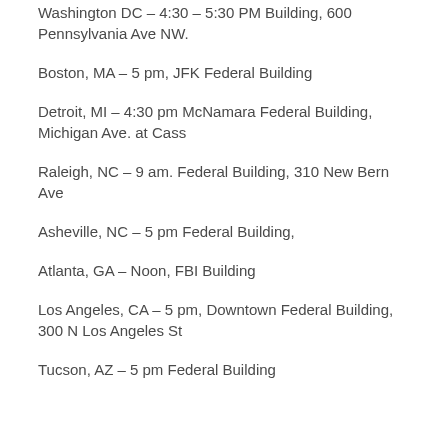Washington DC – 4:30 – 5:30 PM Building, 600 Pennsylvania Ave NW.
Boston, MA – 5 pm, JFK Federal Building
Detroit, MI – 4:30 pm McNamara Federal Building, Michigan Ave. at Cass
Raleigh, NC – 9 am. Federal Building, 310 New Bern Ave
Asheville, NC – 5 pm Federal Building,
Atlanta, GA – Noon, FBI Building
Los Angeles, CA – 5 pm, Downtown Federal Building, 300 N Los Angeles St
Tucson, AZ – 5 pm Federal Building